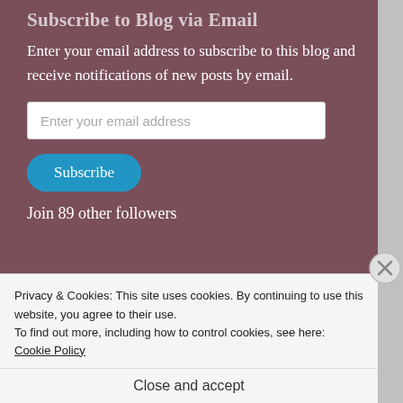Subscribe to Blog via Email
Enter your email address to subscribe to this blog and receive notifications of new posts by email.
Enter your email address
Subscribe
Join 89 other followers
Privacy & Cookies: This site uses cookies. By continuing to use this website, you agree to their use.
To find out more, including how to control cookies, see here: Cookie Policy
Close and accept